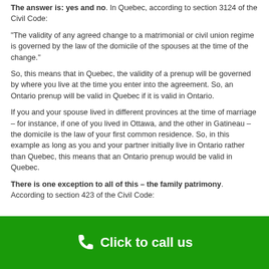The answer is: yes and no. In Quebec, according to section 3124 of the Civil Code:
“The validity of any agreed change to a matrimonial or civil union regime is governed by the law of the domicile of the spouses at the time of the change.”
So, this means that in Quebec, the validity of a prenup will be governed by where you live at the time you enter into the agreement. So, an Ontario prenup will be valid in Quebec if it is valid in Ontario.
If you and your spouse lived in different provinces at the time of marriage – for instance, if one of you lived in Ottawa, and the other in Gatineau – the domicile is the law of your first common residence. So, in this example as long as you and your partner initially live in Ontario rather than Quebec, this means that an Ontario prenup would be valid in Quebec.
There is one exception to all of this – the family patrimony. According to section 423 of the Civil Code:
Click to call us